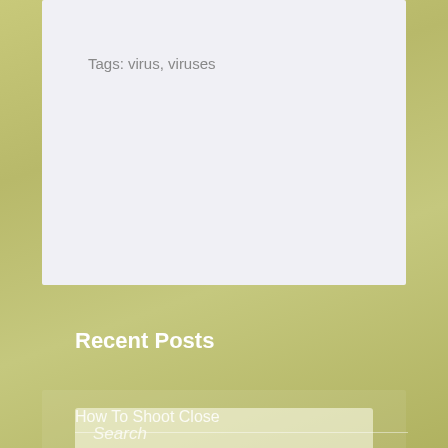Tags: virus, viruses
Search
Recent Posts
How To Shoot Close